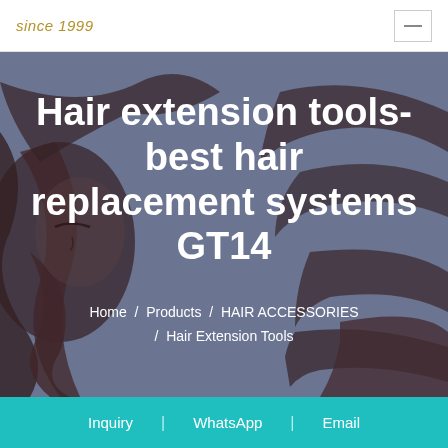since 1999
[Figure (illustration): Decorative illustration of a face with flowing dark hair on a blue-grey background, used as hero image backdrop]
Hair extension tools- best hair replacement systems GT14
Home / Products / HAIR ACCESSORIES / Hair Extension Tools
Inquiry  WhatsApp  Email